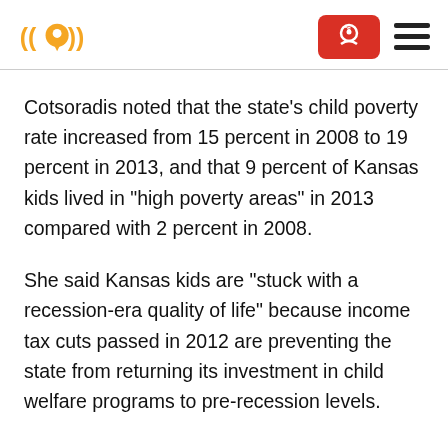Logo and navigation header
Cotsoradis noted that the state’s child poverty rate increased from 15 percent in 2008 to 19 percent in 2013, and that 9 percent of Kansas kids lived in “high poverty areas” in 2013 compared with 2 percent in 2008.
She said Kansas kids are “stuck with a recession-era quality of life” because income tax cuts passed in 2012 are preventing the state from returning its investment in child welfare programs to pre-recession levels.